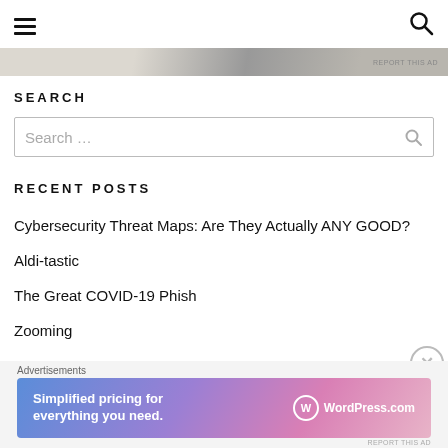Navigation menu and search icon
[Figure (screenshot): Partial advertisement image strip with 'REPORT THIS AD' label]
SEARCH
Search ...
RECENT POSTS
Cybersecurity Threat Maps: Are They Actually ANY GOOD?
Aldi-tastic
The Great COVID-19 Phish
Zooming
Advertisements
[Figure (screenshot): WordPress.com advertisement banner: 'Simplified pricing for everything you need.' with WordPress.com logo]